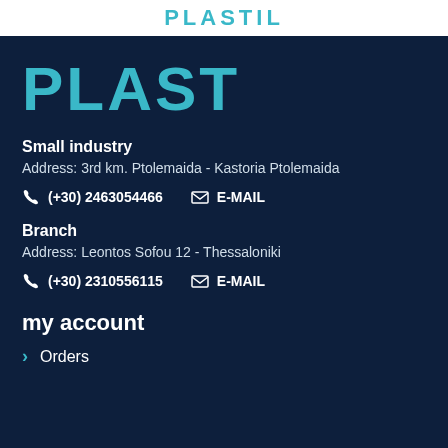PLASTIL
[Figure (logo): PLASTIL brand logo in teal on dark navy background]
Small industry
Address: 3rd km. Ptolemaida - Kastoria Ptolemaida
(+30) 2463054466   E-MAIL
Branch
Address: Leontos Sofou 12 - Thessaloniki
(+30) 2310556115   E-MAIL
my account
Orders